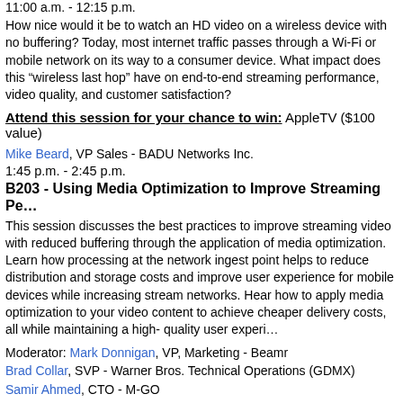11:00 a.m. - 12:15 p.m.
How nice would it be to watch an HD video on a wireless device with no buffering? Today, most internet traffic passes through a Wi-Fi or mobile network on its way to a consumer device. What impact does this "wireless last hop" have on end-to-end streaming performance, video quality, and customer satisfaction?
Attend this session for your chance to win: AppleTV ($100 value)
Mike Beard, VP Sales - BADU Networks Inc.
1:45 p.m. - 2:45 p.m.
B203 - Using Media Optimization to Improve Streaming Pe...
This session discusses the best practices to improve streaming video with reduced buffering through the application of media optimization. Learn how processing at the network ingest point helps to reduce distribution and storage costs and improve user experience for mobile devices while increasing stream networks. Hear how to apply media optimization to your video content to achieve cheaper delivery costs, all while maintaining a high-quality user experi...
Moderator: Mark Donnigan, VP, Marketing - Beamr
Brad Collar, SVP - Warner Bros. Technical Operations (GDMX)
Samir Ahmed, CTO - M-GO
Glen Marzan, VP, Information Technology Production Services & Studio Entertainment
Tim Miller, Director, Back-end Engineering - Yahoo! Flickr
C203 - Building Streaming Apps: Choosing The Right Dev...
With all the streaming devices in the market, and the apps that go with...